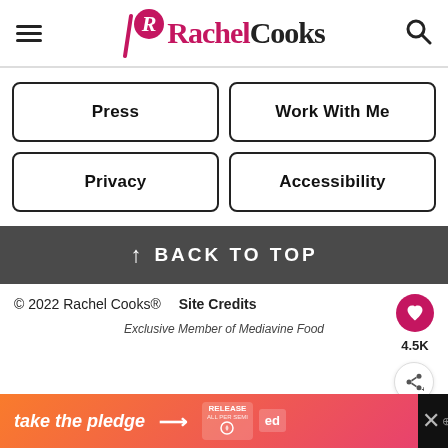Rachel Cooks
Press
Work With Me
Privacy
Accessibility
↑ BACK TO TOP
© 2022 Rachel Cooks®   Site Credits   4.5K
Exclusive Member of Mediavine Food
[Figure (infographic): Ad banner: take the pledge with arrow, Release and Ed logos, close button]